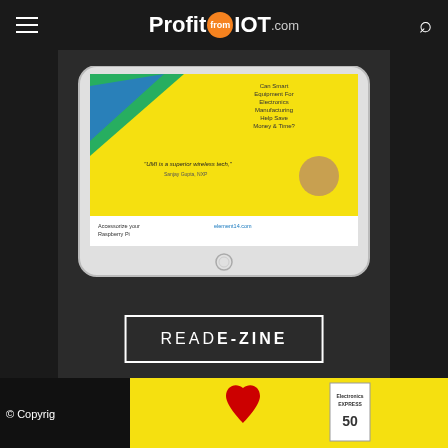ProfitfromIOT.com
[Figure (screenshot): Tablet mockup showing a magazine/e-zine page with yellow background, green and blue chevron design, advertisement text and a person's photo]
READ E-ZINE
© Copyright
[Figure (photo): Yellow advertisement banner with red heart and Electronics Express magazine badge]